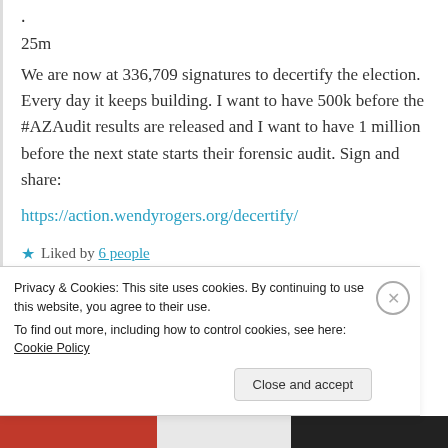.
25m
We are now at 336,709 signatures to decertify the election. Every day it keeps building. I want to have 500k before the #AZAudit results are released and I want to have 1 million before the next state starts their forensic audit. Sign and share:
https://action.wendyrogers.org/decertify/
Liked by 6 people
Reply
Privacy & Cookies: This site uses cookies. By continuing to use this website, you agree to their use.
To find out more, including how to control cookies, see here: Cookie Policy
Close and accept